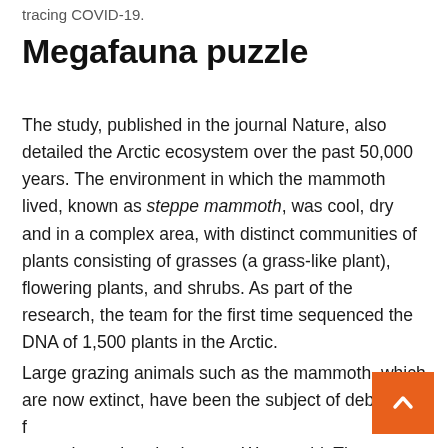tracing COVID-19.
Megafauna puzzle
The study, published in the journal Nature, also detailed the Arctic ecosystem over the past 50,000 years. The environment in which the mammoth lived, known as steppe mammoth, was cool, dry and in a complex area, with distinct communities of plants consisting of grasses (a grass-like plant), flowering plants, and shrubs. As part of the research, the team for the first time sequenced the DNA of 1,500 plants in the Arctic.
Large grazing animals such as the mammoth, which are now extinct, have been the subject of debate for more than a hundred years, Wang said. There are main theories: mammoths were hunted to death